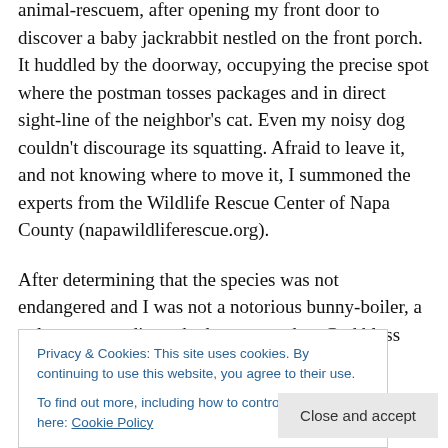animal-rescuem, after opening my front door to discover a baby jackrabbit nestled on the front porch. It huddled by the doorway, occupying the precise spot where the postman tosses packages and in direct sight-line of the neighbor's cat. Even my noisy dog couldn't discourage its squatting. Afraid to leave it, and not knowing where to move it, I summoned the experts from the Wildlife Rescue Center of Napa County (napawildliferescue.org).
After determining that the species was not endangered and I was not a notorious bunny-boiler, a volunteer was dispatched to my garden. God bless those who drop before performing the two essential duties of any rescue
Privacy & Cookies: This site uses cookies. By continuing to use this website, you agree to their use.
To find out more, including how to control cookies, see here: Cookie Policy
Close and accept